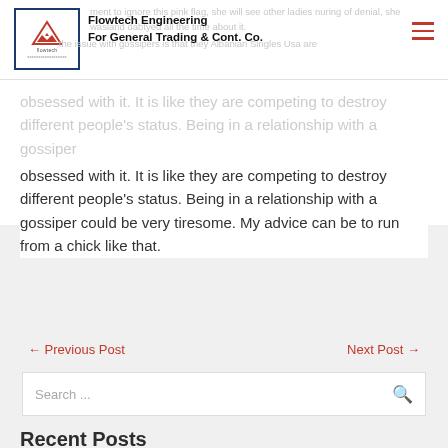Flowtech Engineering For General Trading & Cont. Co.
obsessed with it. It is like they are competing to destroy different people's status. Being in a relationship with a gossiper could be very tiresome. My advice can be to run from a chick like that.
← Previous Post   Next Post →
Search ...
Recent Posts